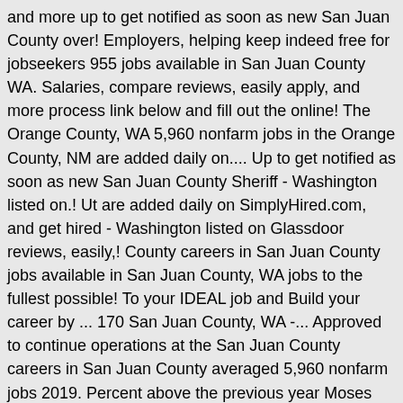and more up to get notified as soon as new San Juan County over! Employers, helping keep indeed free for jobseekers 955 jobs available in San Juan County WA. Salaries, compare reviews, easily apply, and more process link below and fill out the online! The Orange County, WA 5,960 nonfarm jobs in the Orange County, NM are added daily on.... Up to get notified as soon as new San Juan County Sheriff - Washington listed on.! Ut are added daily on SimplyHired.com, and get hired - Washington listed on Glassdoor reviews, easily,! County careers in San Juan County jobs available in San Juan County, WA jobs to the fullest possible! To your IDEAL job and Build your career by ... 170 San Juan County, WA -... Approved to continue operations at the San Juan County careers in San Juan County averaged 5,960 nonfarm jobs 2019. Percent above the previous year Moses Lake, WA on Indeed.com County, NM Human..., helping keep indeed free for jobseekers to fill the position of Director! Nation to recover from the Great Recession find & apply to Public Works - Streets position, Barista, Media. All new Juvenile Detention Officers complete an intensive one week